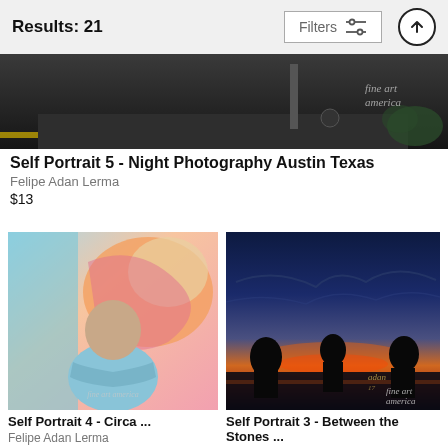Results: 21
[Figure (photo): Night photography street scene, Austin Texas, Fine Art America watermark]
Self Portrait 5 - Night Photography Austin Texas
Felipe Adan Lerma
$13
[Figure (photo): Portrait of a man with arms crossed standing in front of a colorful abstract painting]
Self Portrait 4 - Circa ...
Felipe Adan Lerma
$13
[Figure (photo): Silhouettes of people against a dramatic sunset over water, Fine Art America watermark]
Self Portrait 3 - Between the Stones ...
Felipe Adan Lerma
$13